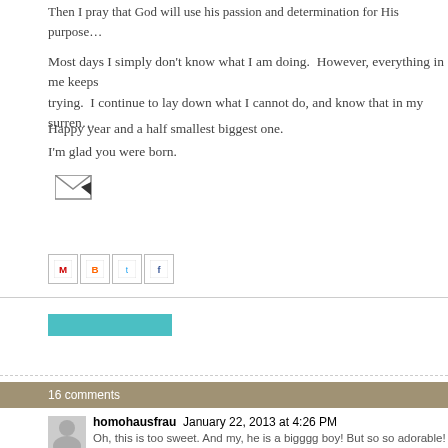Then I pray that God will use his passion and determination for His purpose…
Most days I simply don't know what I am doing.  However, everything in me keeps trying.  I continue to lay down what I cannot do, and know that in my surren…
Happy year and a half smallest biggest one.
I'm glad you were born.
[Figure (other): Email/forward icon button]
[Figure (other): Share icons for Gmail, Blogger, Twitter, Facebook]
[Figure (other): Teal/cyan colored rectangular bar (blog post label/tag)]
16 comments
homohausfrau  January 22, 2013 at 4:26 PM
Oh, this is too sweet. And my, he is a bigggg boy! But so so adorable!